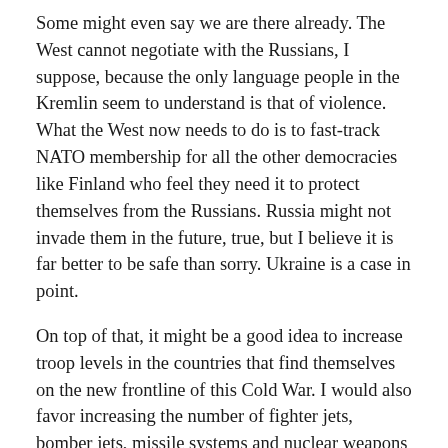Some might even say we are there already. The West cannot negotiate with the Russians, I suppose, because the only language people in the Kremlin seem to understand is that of violence. What the West now needs to do is to fast-track NATO membership for all the other democracies like Finland who feel they need it to protect themselves from the Russians. Russia might not invade them in the future, true, but I believe it is far better to be safe than sorry. Ukraine is a case in point.
On top of that, it might be a good idea to increase troop levels in the countries that find themselves on the new frontline of this Cold War. I would also favor increasing the number of fighter jets, bomber jets, missile systems and nuclear weapons stationed in them. The Russians, and some people at home, will protest like they always do. The purpose of all this must be to demonstrate to the Russians and others of their ilk that when necessary the West is just as ready and willing to use force to defend its interests as they are.
For the sake of the people in Russia who might not have any animosity towards the West and are powerless to effect any change at home, we ought to try and make commercial and